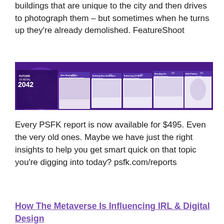buildings that are unique to the city and then drives to photograph them – but sometimes when he turns up they're already demolished. FeatureShoot
[Figure (photo): A collage of PSFK report covers arranged on a purple background, including titles such as 'Future of Retail 2042', 'How Strategies to Innovate Retail Operations', 'Building Next-Generation Experiences', 'Enhancing CX With Frictionless Retail Automation', 'Branding For Profit & Purpose', 'Multi-Platform eCommerce Strategy', and 'Strategies for The Metaverse'.]
Every PSFK report is now available for $495. Even the very old ones. Maybe we have just the right insights to help you get smart quick on that topic you're digging into today? psfk.com/reports
How The Metaverse Is Influencing IRL & Digital Design